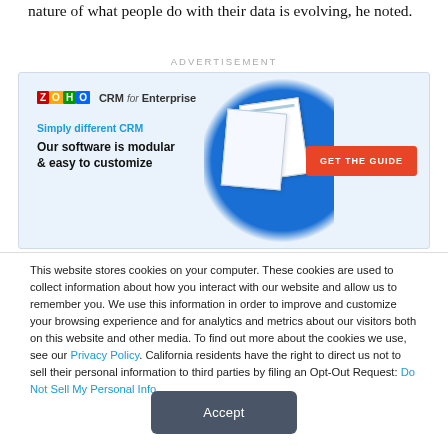nature of what people do with their data is evolving, he noted.
[Figure (infographic): Zoho CRM for Enterprise advertisement banner with logo, tagline 'Simply different CRM', headline 'Our software is modular & easy to customize', document stack graphic, and 'GET THE GUIDE' button]
This website stores cookies on your computer. These cookies are used to collect information about how you interact with our website and allow us to remember you. We use this information in order to improve and customize your browsing experience and for analytics and metrics about our visitors both on this website and other media. To find out more about the cookies we use, see our Privacy Policy. California residents have the right to direct us not to sell their personal information to third parties by filing an Opt-Out Request: Do Not Sell My Personal Info.
Accept